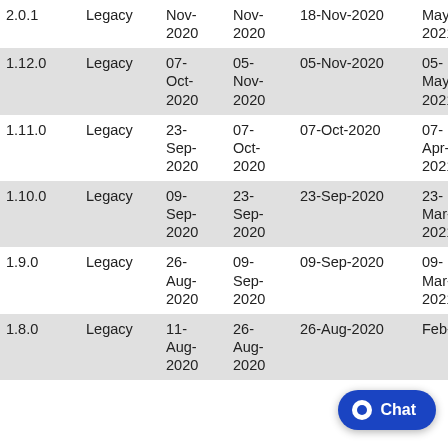| Version | Type | Release Start | Release End | GA Date | End of Support |
| --- | --- | --- | --- | --- | --- |
| 2.0.1 | Legacy | Nov-2020 | Nov-2020 | 18-Nov-2020 | May-2021 |
| 1.12.0 | Legacy | 07-Oct-2020 | 05-Nov-2020 | 05-Nov-2020 | 05-May-2021 |
| 1.11.0 | Legacy | 23-Sep-2020 | 07-Oct-2020 | 07-Oct-2020 | 07-Apr-2021 |
| 1.10.0 | Legacy | 09-Sep-2020 | 23-Sep-2020 | 23-Sep-2020 | 23-Mar-2021 |
| 1.9.0 | Legacy | 26-Aug-2020 | 09-Sep-2020 | 09-Sep-2020 | 09-Mar-2021 |
| 1.8.0 | Legacy | 11-Aug-2020 | 26-Aug-2020 | 26-Aug-2020 | Feb-... |